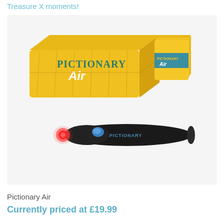Treasure X moments!
[Figure (photo): Pictionary Air board game product photo showing a yellow rectangular box labeled 'Pictionary Air', a small card holder with cards, and a black electronic light-up drawing pen with a red tip and blue button.]
Pictionary Air
Currently priced at £19.99